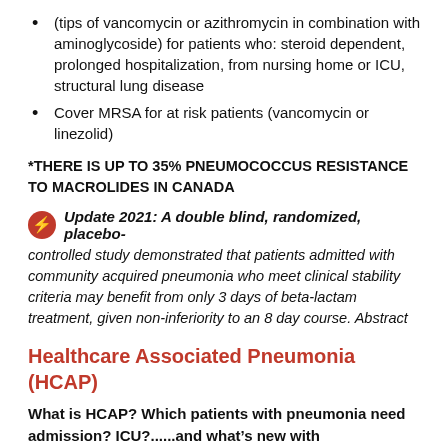(tips of vancomycin or azithromycin in combination with aminoglycoside) for patients who: steroid dependent, prolonged hospitalization, from nursing home or ICU, structural lung disease
Cover MRSA for at risk patients (vancomycin or linezolid)
*THERE IS UP TO 35% PNEUMOCOCCUS RESISTANCE TO MACROLIDES IN CANADA
Update 2021: A double blind, randomized, placebo-controlled study demonstrated that patients admitted with community acquired pneumonia who meet clinical stability criteria may benefit from only 3 days of beta-lactam treatment, given non-inferiority to an 8 day course. Abstract
Healthcare Associated Pneumonia (HCAP)
What is HCAP? Which patients with pneumonia need admission? ICU?......and what’s new with pneumothorax?